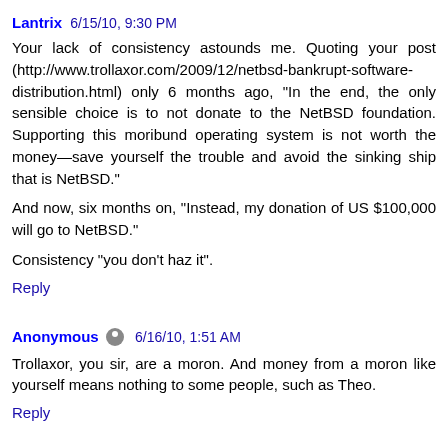Lantrix 6/15/10, 9:30 PM
Your lack of consistency astounds me. Quoting your post (http://www.trollaxor.com/2009/12/netbsd-bankrupt-software-distribution.html) only 6 months ago, "In the end, the only sensible choice is to not donate to the NetBSD foundation. Supporting this moribund operating system is not worth the money—save yourself the trouble and avoid the sinking ship that is NetBSD."
And now, six months on, "Instead, my donation of US $100,000 will go to NetBSD."
Consistency "you don't haz it".
Reply
Anonymous 6/16/10, 1:51 AM
Trollaxor, you sir, are a moron. And money from a moron like yourself means nothing to some people, such as Theo.
Reply